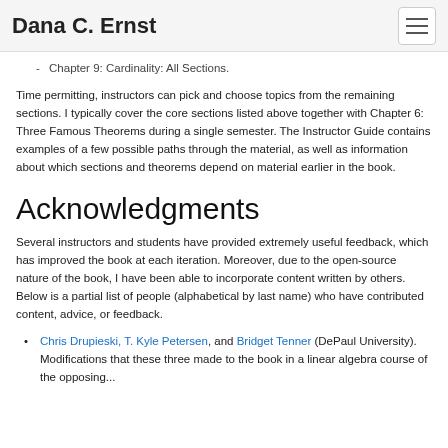Dana C. Ernst
Chapter 9: Cardinality: All Sections.
Time permitting, instructors can pick and choose topics from the remaining sections. I typically cover the core sections listed above together with Chapter 6: Three Famous Theorems during a single semester. The Instructor Guide contains examples of a few possible paths through the material, as well as information about which sections and theorems depend on material earlier in the book.
Acknowledgments
Several instructors and students have provided extremely useful feedback, which has improved the book at each iteration. Moreover, due to the open-source nature of the book, I have been able to incorporate content written by others. Below is a partial list of people (alphabetical by last name) who have contributed content, advice, or feedback.
Chris Drupieski, T. Kyle Petersen, and Bridget Tenner (DePaul University). Modifications that these three made to the book in a linear algebra course of the opposing...